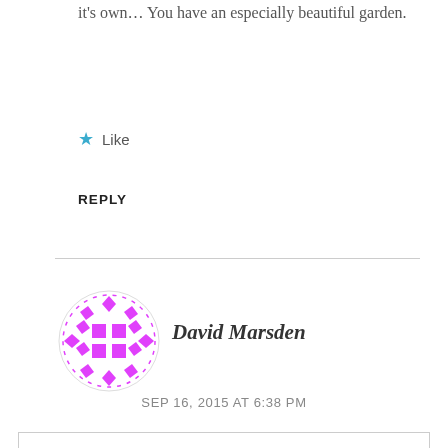it's own… You have an especially beautiful garden.
★ Like
REPLY
[Figure (illustration): Round avatar icon with pink/magenta geometric diamond/square pattern on white background, circular shape]
David Marsden
SEP 16, 2015 AT 6:38 PM
Privacy & Cookies: This site uses cookies. By continuing to use this website, you agree to their use.
To find out more, including how to control cookies, see here:
Wordpress.com Cookie Policy
Accept and Dismiss
★ Like